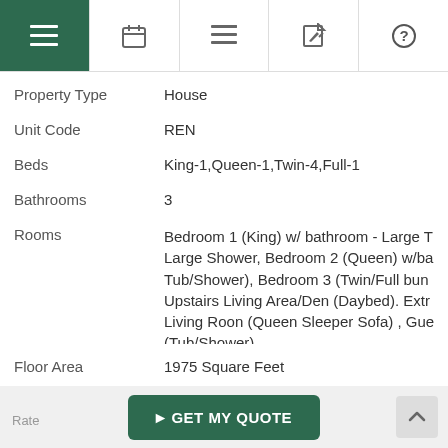Navigation bar with menu, calendar, list, edit, and help icons
Property Type   House
Unit Code   REN
Beds   King-1,Queen-1,Twin-4,Full-1
Bathrooms   3
Rooms   Bedroom 1 (King) w/ bathroom - Large T... Large Shower, Bedroom 2 (Queen) w/ba... Tub/Shower), Bedroom 3 (Twin/Full bun... Upstairs Living Area/Den (Daybed). Extr... Living Roon (Queen Sleeper Sofa) , Gue... (Tub/Shower)
Floor Area   1975 Square Feet
GET MY QUOTE